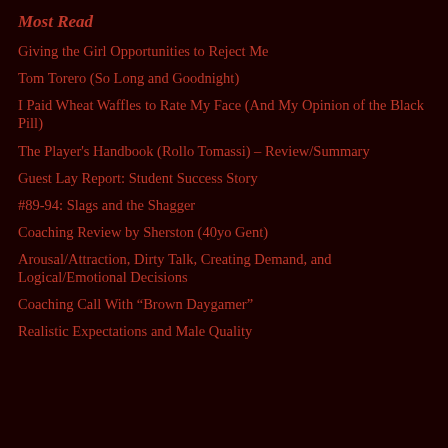Most Read
Giving the Girl Opportunities to Reject Me
Tom Torero (So Long and Goodnight)
I Paid Wheat Waffles to Rate My Face (And My Opinion of the Black Pill)
The Player's Handbook (Rollo Tomassi) – Review/Summary
Guest Lay Report: Student Success Story
#89-94: Slags and the Shagger
Coaching Review by Sherston (40yo Gent)
Arousal/Attraction, Dirty Talk, Creating Demand, and Logical/Emotional Decisions
Coaching Call With "Brown Daygamer"
Realistic Expectations and Male Quality